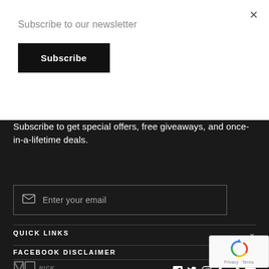Subscribe to our newsletter
Subscribe
Subscribe to get special offers, free giveaways, and once-in-a-lifetime deals.
Enter your email
QUICK LINKS
FACEBOOK DISCLAIMER
[Figure (logo): Nick Groff logo with stylized NG letters]
[Figure (infographic): Social media icons: Facebook, Twitter, Instagram, Snapchat, TikTok, YouTube]
[Figure (other): reCAPTCHA widget with spinning arrows icon, Privacy and Terms text]